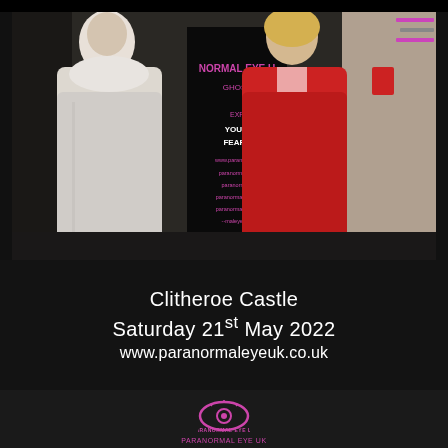[Figure (photo): Two women standing in front of a Paranormal Eye UK ghost hunt banner inside Clitheroe Castle. Woman on left wears a light pink/white puffer coat, woman on right wears a red puffer coat. Stone wall visible on right. Top-right corner has a hamburger menu icon with purple/pink horizontal lines.]
Clitheroe Castle
Saturday 21st May 2022
www.paranormaleyeuk.co.uk
[Figure (logo): Paranormal Eye UK logo - pink/magenta eye icon with 'PARANORMAL EYE UK' text below in pink]
#paranormaleye